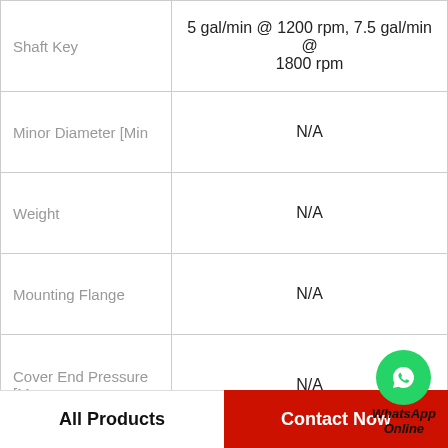| Property | Value |
| --- | --- |
| Shaft Key | 5 gal/min @ 1200 rpm, 7.5 gal/min @ 1800 rpm |
| Minor Diameter [Min | N/A |
| Weight | N/A |
| Mounting Flange | N/A |
| Cover End Pressure [Max | N/A |
| Shaft Type | N/A |
| Cover End RPM [Max | 21 gal/min @ 1200 rpm, 31.5 gal/min @ 1800 rpm |
| Minor Diameter [Max | 2520VQ21A5-1DD20 |
[Figure (logo): WhatsApp Online badge with green phone icon]
All Products    Contact Now